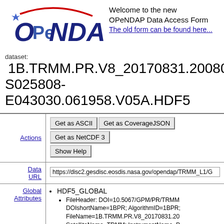[Figure (logo): OPeNDAP logo with blue text and red swoosh arc above]
Welcome to the new OPeNDAP Data Access Form
The old form can be found here...
dataset: 1B.TRMM.PR.V8_20170831.20080930-S025808-E043030.061958.V05A.HDF5
Actions
Get as ASCII  Get as CoverageJSON  Get as NetCDF 3  Show Help
Data URL
https://disc2.gesdisc.eosdis.nasa.gov/opendap/TRMM_L1/G
Global Attributes
HDF5_GLOBAL
FileHeader: DOI=10.5067/GPM/PR/TRMM; DOIshortName=1BPR; AlgorithmID=1BPR; FileName=1B.TRMM.PR.V8_20170831.20; SatelliteName=TRMM; InstrumentName=P; 04T17:48:00.000Z; StartGranuleDateTime=; StopGranuleDateTime=2008-09-30T04:30: